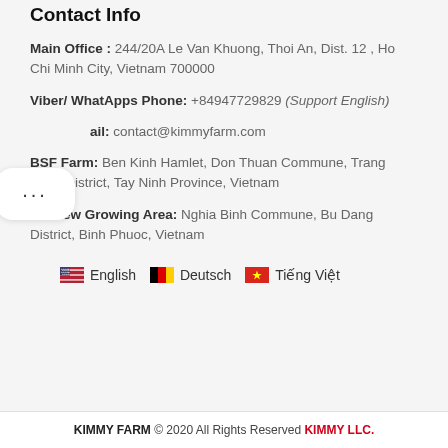Contact Info
Main Office : 244/20A Le Van Khuong, Thoi An, Dist. 12 , Ho Chi Minh City, Vietnam 700000
Viber/ WhatApps Phone: +84947729829 (Support English)
Email: contact@kimmyfarm.com
BSF Farm: Ben Kinh Hamlet, Don Thuan Commune, Trang Bang District, Tay Ninh Province, Vietnam
Cashew Growing Area: Nghia Binh Commune, Bu Dang District, Binh Phuoc, Vietnam
English
Deutsch
Tiếng Việt
KIMMY FARM © 2020 All Rights Reserved KIMMY LLC.